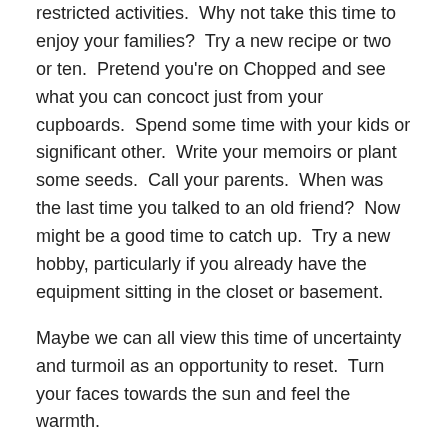restricted activities.  Why not take this time to enjoy your families?  Try a new recipe or two or ten.  Pretend you're on Chopped and see what you can concoct just from your cupboards.  Spend some time with your kids or significant other.  Write your memoirs or plant some seeds.  Call your parents.  When was the last time you talked to an old friend?  Now might be a good time to catch up.  Try a new hobby, particularly if you already have the equipment sitting in the closet or basement.
Maybe we can all view this time of uncertainty and turmoil as an opportunity to reset.  Turn your faces towards the sun and feel the warmth.
Share this